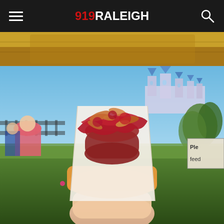919RALEIGH
[Figure (photo): Top partial image showing what appears to be food on a golden/yellow plate or surface, cropped at the top of the page]
[Figure (photo): A person holding a loaded hot dog or sausage in a paper holder with red sauce/cranberry topping and crispy onions or chips, with Cinderella Castle at Walt Disney World visible in the blurred background along with green trees and blue sky. A partial sign reading 'Ple...' and 'feed...' is visible on the right side.]